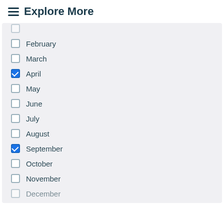Explore More
February
March
April (checked)
May
June
July
August
September (checked)
October
November
December (partially visible)